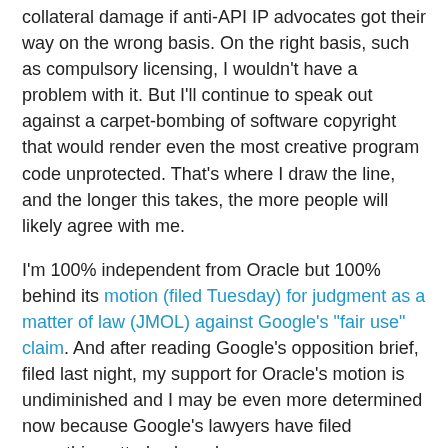collateral damage if anti-API IP advocates got their way on the wrong basis. On the right basis, such as compulsory licensing, I wouldn't have a problem with it. But I'll continue to speak out against a carpet-bombing of software copyright that would render even the most creative program code unprotected. That's where I draw the line, and the longer this takes, the more people will likely agree with me.
I'm 100% independent from Oracle but 100% behind its motion (filed Tuesday) for judgment as a matter of law (JMOL) against Google's "fair use" claim. And after reading Google's opposition brief, filed last night, my support for Oracle's motion is undiminished and I may be even more determined now because Google's lawyers have filed something utterly absurd.
To all you dreamers out there: it's time to wake up and face the facts. And the law.
The only regard in which Google has a point is that Sun Microsystems' management, including one of the industry's worst CEOs ever, failed to make it consistently clear to